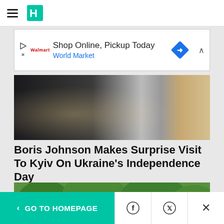HuffPost navigation
[Figure (screenshot): Advertisement banner: Shop Online, Pickup Today – World Market]
[Figure (photo): Two men standing side by side, one in a dark suit and one in a grey t-shirt, outdoors]
Boris Johnson Makes Surprise Visit To Kyiv On Ukraine's Independence Day
HuffPost
[Figure (photo): Suburban house with green trees in foreground]
< GO TO HOMEPAGE